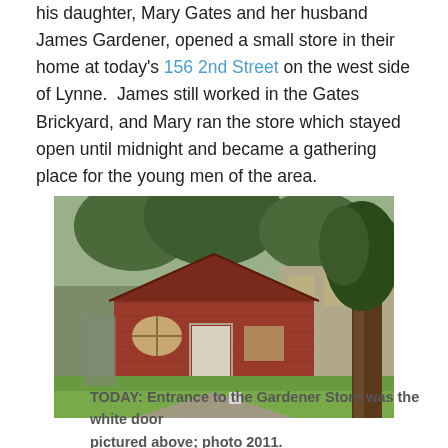his daughter, Mary Gates and her husband James Gardener, opened a small store in their home at today's 156 2nd Street on the west side of Lynne.  James still worked in the Gates Brickyard, and Mary ran the store which stayed open until midnight and became a gathering place for the young men of the area.
[Figure (photo): A red brick building with a peaked roof and white door, surrounded by trees and green lawn. A larger grey/beige building is visible behind it to the right.]
TODAY: Entrance to the Gardener Store was the white door pictured above; photo 2011.